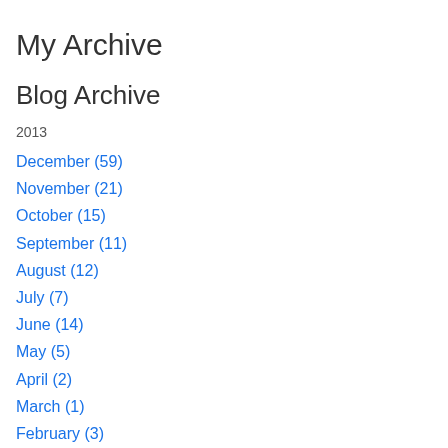My Archive
Blog Archive
2013
December (59)
November (21)
October (15)
September (11)
August (12)
July (7)
June (14)
May (5)
April (2)
March (1)
February (3)
January (9)